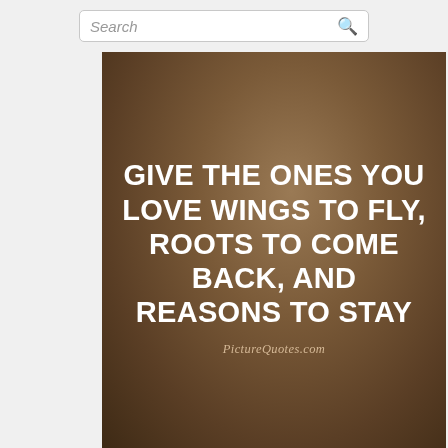Search
[Figure (illustration): Brown textured background with white bold uppercase quote text: GIVE THE ONES YOU LOVE WINGS TO FLY, ROOTS TO COME BACK, AND REASONS TO STAY. Watermark reads PictureQuotes.com]
PictureQuotes.com